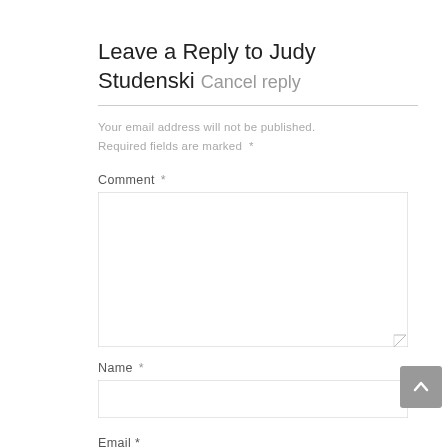Leave a Reply to Judy Studenski Cancel reply
Your email address will not be published. Required fields are marked *
Comment *
Name *
Email *